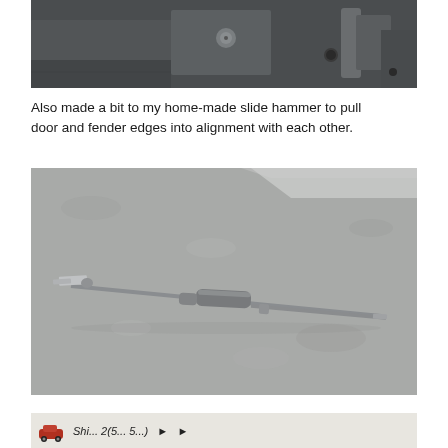[Figure (photo): Close-up photo of a dark grey metal hinge/bracket mechanism with a bolt and circular hole on flat steel panel]
Also made a bit to my home-made slide hammer to pull door and fender edges into alignment with each other.
[Figure (photo): Photo of a home-made slide hammer tool laid on a concrete floor. The tool is a metal rod with a flat chisel/blade end on the left, a cylindrical sliding weight in the middle, and a thin shaft extending to the right.]
[Figure (photo): Bottom strip showing a small car icon and partial text beginning with 'Shi... 2(5... 5...' - appears to be a forum signature or footer bar]